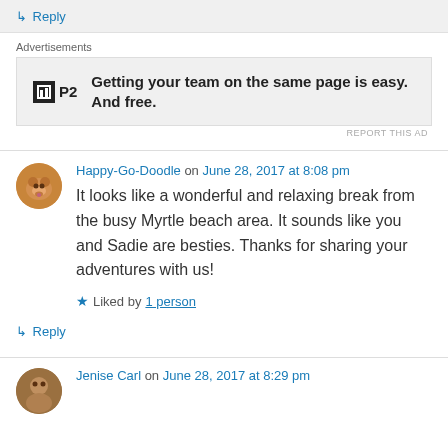↳ Reply
Advertisements
[Figure (screenshot): P2 advertisement: Getting your team on the same page is easy. And free.]
Happy-Go-Doodle on June 28, 2017 at 8:08 pm
It looks like a wonderful and relaxing break from the busy Myrtle beach area. It sounds like you and Sadie are besties. Thanks for sharing your adventures with us!
Liked by 1 person
↳ Reply
Jenise Carl on June 28, 2017 at 8:29 pm